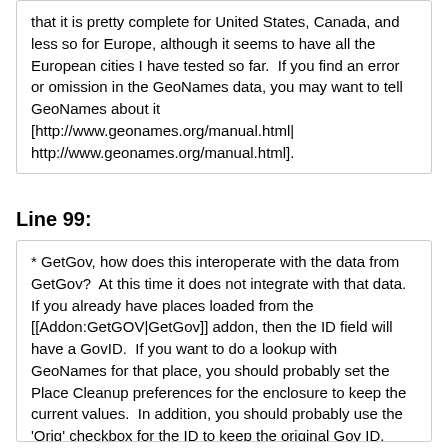that it is pretty complete for United States, Canada, and less so for Europe, although it seems to have all the European cities I have tested so far.  If you find an error or omission in the GeoNames data, you may want to tell GeoNames about it [http://www.geonames.org/manual.html| http://www.geonames.org/manual.html].
Line 99:
* GetGov, how does this interoperate with the data from GetGov?  At this time it does not integrate with that data.  If you already have places loaded from the [[Addon:GetGOV|GetGov]] addon, then the ID field will have a GovID.  If you want to do a lookup with GeoNames for that place, you should probably set the Place Cleanup preferences for the enclosure to keep the current values.  In addition, you should probably use the 'Orig' checkbox for the ID to keep the original Gov ID.